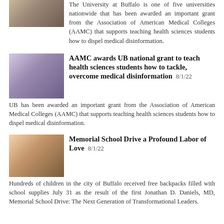[Figure (photo): Partial image of a person at a desk/computer, cropped at top of page]
The University at Buffalo is one of five universities nationwide that has been awarded an important grant from the Association of American Medical Colleges (AAMC) that supports teaching health sciences students how to dispel medical disinformation.
[Figure (photo): Student and instructor looking at a computer screen together]
AAMC awards UB national grant to teach health sciences students how to tackle, overcome medical disinformation 8/1/22
UB has been awarded an important grant from the Association of American Medical Colleges (AAMC) that supports teaching health sciences students how to dispel medical disinformation.
[Figure (photo): Child receiving a haircut or care, community event photo]
Memorial School Drive a Profound Labor of Love 8/1/22
Hundreds of children in the city of Buffalo received free backpacks filled with school supplies July 31 as the result of the first Jonathan D. Daniels, MD, Memorial School Drive: The Next Generation of Transformational Leaders.